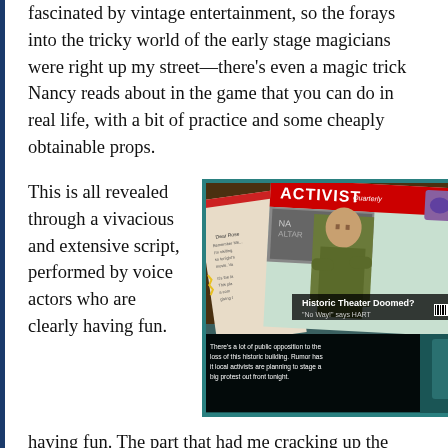fascinated by vintage entertainment, so the forays into the tricky world of the early stage magicians were right up my street—there's even a magic trick Nancy reads about in the game that you can do in real life, with a bit of practice and some cheaply obtainable props.
This is all revealed through a vivacious and extensive script, performed by voice actors who are clearly having fun. The part that had me cracking up the most
[Figure (screenshot): Game screenshot showing the Nancy Drew game with an 'Activist Quarterly' magazine featuring a character with crossed arms in a camo shirt, headline 'Historic Theater Doomed? No Way! says HART', and a subtitle text box reading 'There's a lot of public opposition to the loss of this historic building. Rumor has it local activists are planning to stage a big protest out front tonight.']